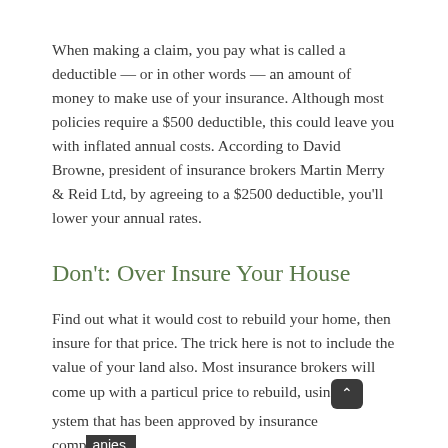When making a claim, you pay what is called a deductible — or in other words — an amount of money to make use of your insurance. Although most policies require a $500 deductible, this could leave you with inflated annual costs. According to David Browne, president of insurance brokers Martin Merry & Reid Ltd, by agreeing to a $2500 deductible, you'll lower your annual rates.
Don't: Over Insure Your House
Find out what it would cost to rebuild your home, then insure for that price. The trick here is not to include the value of your land also. Most insurance brokers will come up with a particul price to rebuild, using a system that has been approved by insurance companies.